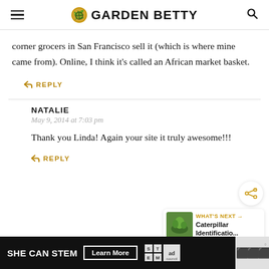GARDEN BETTY
corner grocers in San Francisco sell it (which is where mine came from). Online, I think it's called an African market basket.
↩ REPLY
NATALIE
May 9, 2014 at 7:03 pm
Thank you Linda! Again your site it truly awesome!!!
↩ REPLY
[Figure (screenshot): SHE CAN STEM advertisement banner with Learn More button and ad council logos]
[Figure (infographic): What's Next widget showing Caterpillar Identificatio... link with plant thumbnail image]